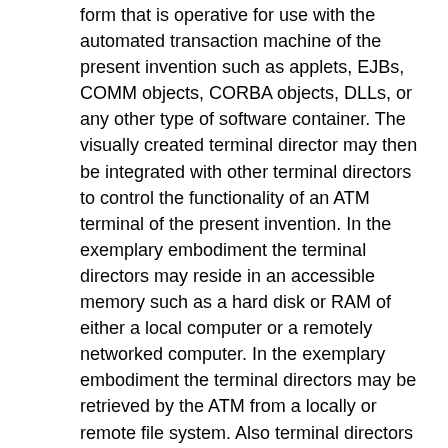form that is operative for use with the automated transaction machine of the present invention such as applets, EJBs, COMM objects, CORBA objects, DLLs, or any other type of software container. The visually created terminal director may then be integrated with other terminal directors to control the functionality of an ATM terminal of the present invention. In the exemplary embodiment the terminal directors may reside in an accessible memory such as a hard disk or RAM of either a local computer or a remotely networked computer. In the exemplary embodiment the terminal directors may be retrieved by the ATM from a locally or remote file system. Also terminal directors may be retrieved from a local or remote database or web server. In other exemplary embodiments the terminal directors may be integrated into an application server.
[0279] During a typical customer session, the ATM terminal will use at least three directors: a control director, a transaction director, and the terminate director. The control director typically is